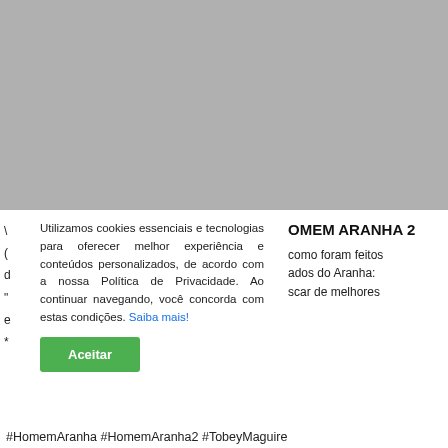[Figure (photo): Gray placeholder image occupying the top portion of the page]
Utilizamos cookies essenciais e tecnologias para oferecer melhor experiência e conteúdos personalizados, de acordo com a nossa Política de Privacidade. Ao continuar navegando, você concorda com estas condições. Saiba mais!
Aceitar
OMEM ARANHA 2
como foram feitos
ados do Aranha:
scar de melhores
#HomemAranha #HomemAranha2 #TobeyMaguire